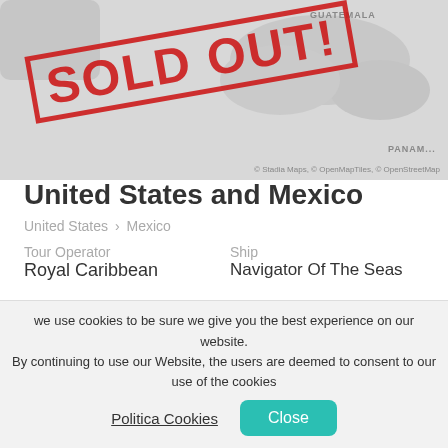[Figure (map): Map showing Central America region including Guatemala and Panama with SOLD OUT stamp overlay]
United States and Mexico
United States > Mexico
Tour Operator
Royal Caribbean
Ship
Navigator Of The Seas
Depart from
Los Angeles
Length
7 Nights
Departure Date
23 September 2022
Arrival Date
30 September 2022
we use cookies to be sure we give you the best experience on our website. By continuing to use our Website, the users are deemed to consent to our use of the cookies
Politica Cookies
Close